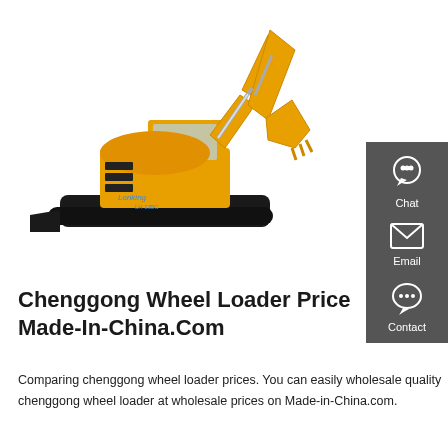[Figure (photo): Yellow Lonking brand crawler excavator/digger with articulated arm and bucket, photographed on white background. Model number visible on tracks area.]
[Figure (infographic): Dark grey sidebar panel with three icon buttons: Chat (headset icon), Email (envelope icon), Contact (speech bubble with dots icon), each separated by a red horizontal rule.]
Chenggong Wheel Loader Price Made-In-China.Com
Comparing chenggong wheel loader prices. You can easily wholesale quality chenggong wheel loader at wholesale prices on Made-in-China.com.